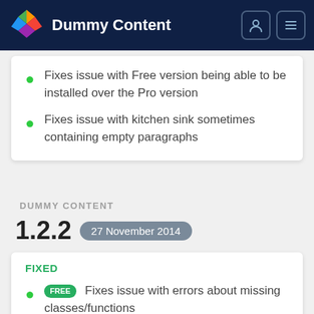Dummy Content
Fixes issue with Free version being able to be installed over the Pro version
Fixes issue with kitchen sink sometimes containing empty paragraphs
DUMMY CONTENT
1.2.2  27 November 2014
FIXED
FREE  Fixes issue with errors about missing classes/functions